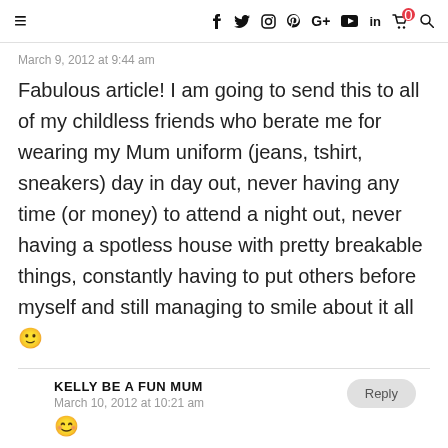≡  f  𝕏  ⊙  ⊕  G+  ▶  in  🛒⁰  🔍
March 9, 2012 at 9:44 am
Fabulous article! I am going to send this to all of my childless friends who berate me for wearing my Mum uniform (jeans, tshirt, sneakers) day in day out, never having any time (or money) to attend a night out, never having a spotless house with pretty breakable things, constantly having to put others before myself and still managing to smile about it all 🙂
KELLY BE A FUN MUM
March 10, 2012 at 10:21 am